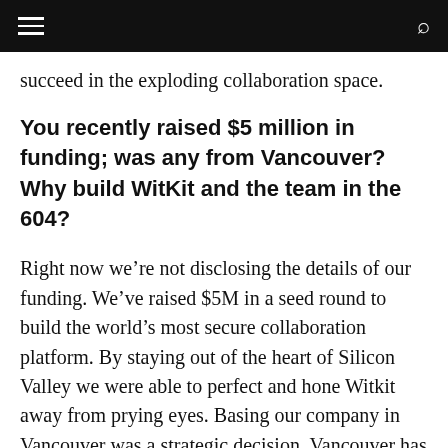succeed in the exploding collaboration space.
You recently raised $5 million in funding; was any from Vancouver? Why build WitKit and the team in the 604?
Right now we’re not disclosing the details of our funding. We’ve raised $5M in a seed round to build the world’s most secure collaboration platform. By staying out of the heart of Silicon Valley we were able to perfect and hone Witkit away from prying eyes. Basing our company in Vancouver was a strategic decision. Vancouver has a booming tech scene. Gastown, where our offices are located, is an emerging tech hub.